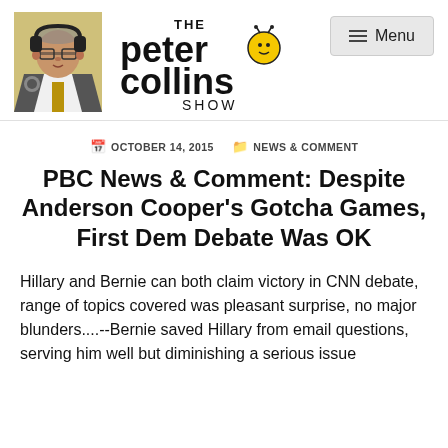[Figure (logo): The Peter Collins Show logo with host photo, show name text and mascot character]
OCTOBER 14, 2015   NEWS & COMMENT
PBC News & Comment: Despite Anderson Cooper's Gotcha Games, First Dem Debate Was OK
Hillary and Bernie can both claim victory in CNN debate, range of topics covered was pleasant surprise, no major blunders....--Bernie saved Hillary from email questions, serving him well but diminishing a serious issue